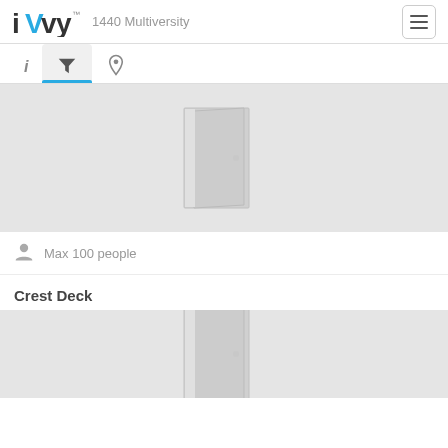iVvy — 1440 Multiversity
[Figure (screenshot): Navigation tab bar with info (i), filter (funnel), and location (pin) icons. Filter tab is active with blue underline.]
[Figure (illustration): Placeholder room image showing a grey open door icon on light grey background]
Max 100 people
Crest Deck
[Figure (illustration): Second placeholder room image showing a grey open door icon on light grey background, partially visible]